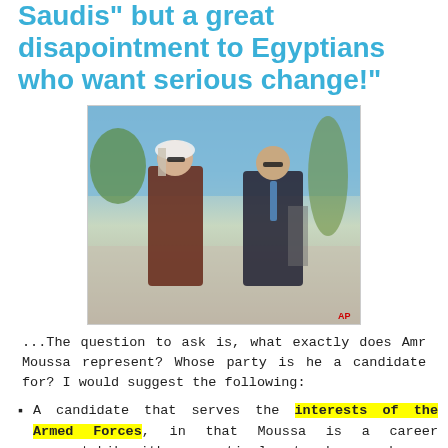Saudis" but a great disapointment to Egyptians who want serious change!"
[Figure (photo): Two men in sunglasses shaking hands or standing together outdoors. The man on the left wears traditional Saudi Arabian dress (thobe and keffiyeh), and the man on the right wears a dark business suit with a blue tie. Palm trees and a light background are visible.]
...The question to ask is, what exactly does Amr Moussa represent? Whose party is he a candidate for? I would suggest the following:
A candidate that serves the interests of the Armed Forces, in that Moussa is a career apparatchik with no particular track record as a democrat or someone willing to stand up to the military.